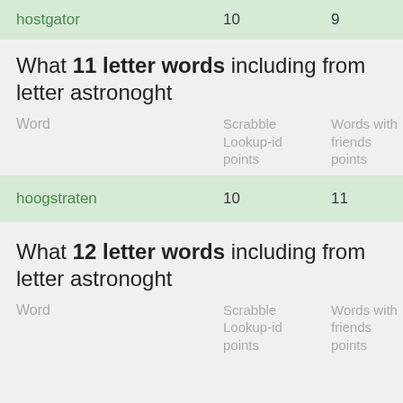| Word | Scrabble Lookup-id points | Words with friends points |
| --- | --- | --- |
| hostgator | 10 | 9 |
What 11 letter words including from letter astronoght
| Word | Scrabble Lookup-id points | Words with friends points |
| --- | --- | --- |
| hoogstraten | 10 | 11 |
What 12 letter words including from letter astronoght
| Word | Scrabble Lookup-id points | Words with friends points |
| --- | --- | --- |